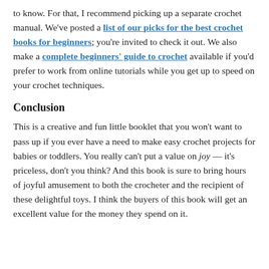to know. For that, I recommend picking up a separate crochet manual. We've posted a list of our picks for the best crochet books for beginners; you're invited to check it out. We also make a complete beginners' guide to crochet available if you'd prefer to work from online tutorials while you get up to speed on your crochet techniques.
Conclusion
This is a creative and fun little booklet that you won't want to pass up if you ever have a need to make easy crochet projects for babies or toddlers. You really can't put a value on joy — it's priceless, don't you think? And this book is sure to bring hours of joyful amusement to both the crocheter and the recipient of these delightful toys. I think the buyers of this book will get an excellent value for the money they spend on it.